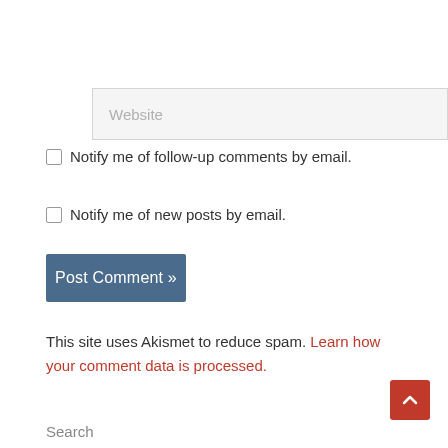[Figure (screenshot): Website input field with placeholder text 'Website' on a light grey background]
Notify me of follow-up comments by email.
Notify me of new posts by email.
Post Comment »
This site uses Akismet to reduce spam. Learn how your comment data is processed.
Search